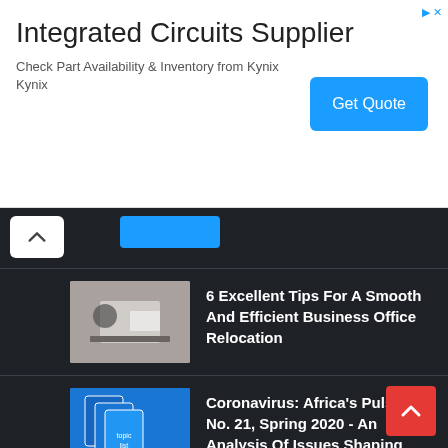[Figure (screenshot): Advertisement banner: Integrated Circuits Supplier with Get Quote button from Kynix]
Integrated Circuits Supplier
Check Part Availability & Inventory from Kynix Kynix
6 Excellent Tips For A Smooth And Efficient Business Office Relocation
Coronavirus: Africa's Pulse, No. 21, Spring 2020 - An Analysis Of Issues Shaping Africa's Economic Future
How Mobile Money Payments Will Change Online Shopping Experience In The Next 10 Years